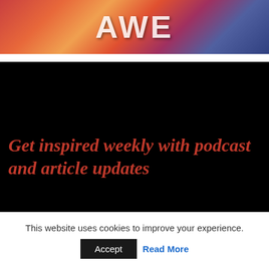[Figure (illustration): Colorful abstract artwork banner with text 'AWE' in white letters overlaid on a vibrant painted background with reds, oranges, blues and pinks]
[Figure (infographic): Black background promotional section with italic bold red text reading 'Get inspired weekly with podcast and article updates', and 'The Next Chapter with Charlie' logo below]
This website uses cookies to improve your experience.
Accept
Read More